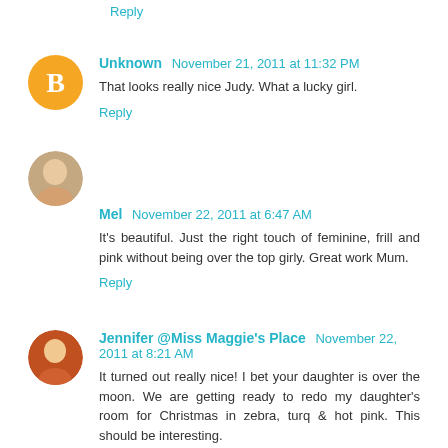Reply
Unknown  November 21, 2011 at 11:32 PM
That looks really nice Judy. What a lucky girl.
Reply
Mel  November 22, 2011 at 6:47 AM
It's beautiful. Just the right touch of feminine, frill and pink without being over the top girly. Great work Mum.
Reply
Jennifer @Miss Maggie's Place  November 22, 2011 at 8:21 AM
It turned out really nice! I bet your daughter is over the moon. We are getting ready to redo my daughter's room for Christmas in zebra, turq & hot pink. This should be interesting.